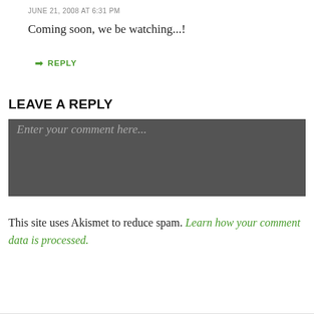JUNE 21, 2008 AT 6:31 PM
Coming soon, we be watching...!
↳ REPLY
LEAVE A REPLY
Enter your comment here...
This site uses Akismet to reduce spam. Learn how your comment data is processed.